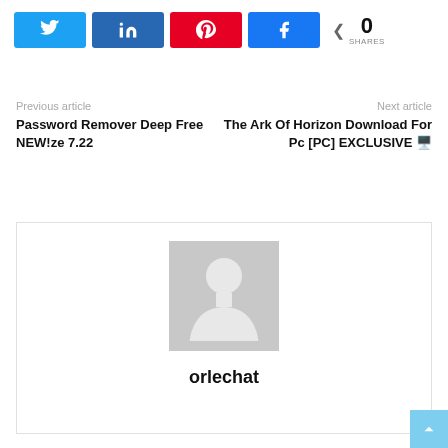[Figure (infographic): Social share buttons: Twitter (blue), LinkedIn (dark blue), Pinterest (red), Facebook (blue), and a share count showing 0 SHARES]
Previous article
Password Remover Deep Free NEW!ze 7.22
Next article
The Ark Of Horizon Download For Pc [PC] EXCLUSIVE 🖥️
[Figure (photo): Author avatar placeholder (grey silhouette of a person) followed by the author name 'orlechat']